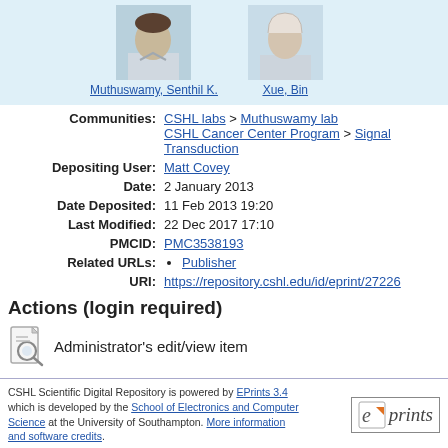[Figure (photo): Profile photos of two researchers: Muthuswamy, Senthil K. and Xue, Bin, displayed on a light blue background]
Communities: CSHL labs > Muthuswamy lab
CSHL Cancer Center Program > Signal Transduction
Depositing User: Matt Covey
Date: 2 January 2013
Date Deposited: 11 Feb 2013 19:20
Last Modified: 22 Dec 2017 17:10
PMCID: PMC3538193
Related URLs: Publisher
URI: https://repository.cshl.edu/id/eprint/27226
Actions (login required)
Administrator's edit/view item
CSHL Scientific Digital Repository is powered by EPrints 3.4 which is developed by the School of Electronics and Computer Science at the University of Southampton. More information and software credits.